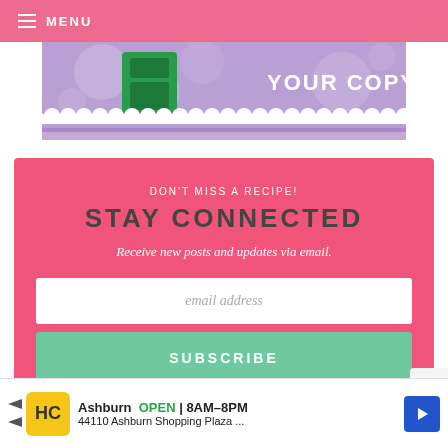☰ MENU
[Figure (illustration): Partial banner image with purple background, green product, and text 'YOUR COPY']
DON'T MISS A RECIPE!
STAY CONNECTED
Receive new posts and updates via email.
email address
SUBSCRIBE
X
Ashburn OPEN 8AM–8PM 44110 Ashburn Shopping Plaza ...